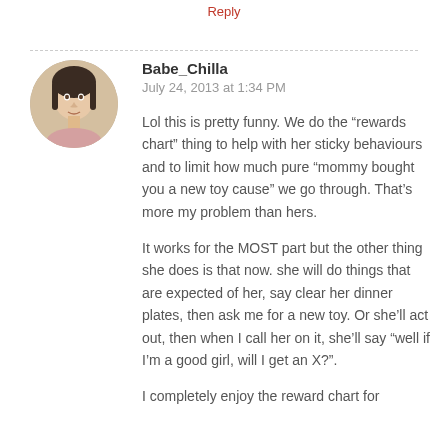Reply
[Figure (photo): Circular avatar photo of a young woman with dark hair against a light background]
Babe_Chilla
July 24, 2013 at 1:34 PM
Lol this is pretty funny. We do the “rewards chart” thing to help with her sticky behaviours and to limit how much pure “mommy bought you a new toy cause” we go through. That’s more my problem than hers.
It works for the MOST part but the other thing she does is that now. she will do things that are expected of her, say clear her dinner plates, then ask me for a new toy. Or she’ll act out, then when I call her on it, she’ll say “well if I’m a good girl, will I get an X?”.
I completely enjoy the reward chart for